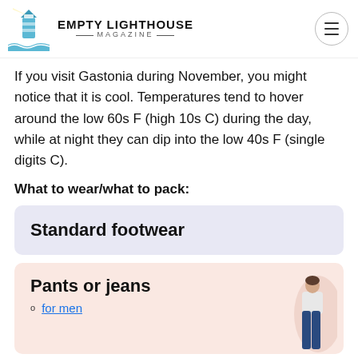Empty Lighthouse Magazine
If you visit Gastonia during November, you might notice that it is cool. Temperatures tend to hover around the low 60s F (high 10s C) during the day, while at night they can dip into the low 40s F (single digits C).
What to wear/what to pack:
[Figure (other): Card with light purple/lavender background showing text 'Standard footwear']
[Figure (other): Card with light pink/peach background showing 'Pants or jeans' with a bullet link 'for men' and a photo of a woman wearing jeans on the right side]